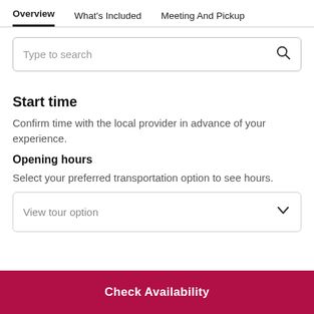Overview  What's Included  Meeting And Pickup
[Figure (screenshot): Search input box with placeholder text 'Type to search' and a magnifying glass icon on the right]
Start time
Confirm time with the local provider in advance of your experience.
Opening hours
Select your preferred transportation option to see hours.
[Figure (screenshot): Dropdown selector with placeholder text 'View tour option' and a chevron on the right]
Check Availability